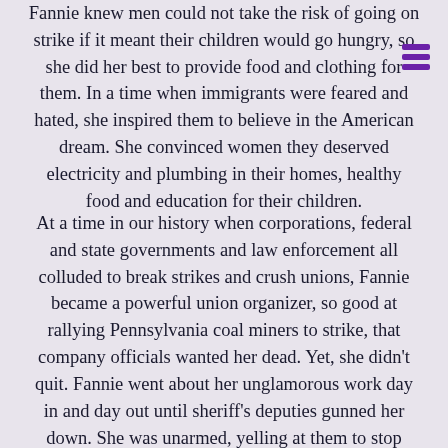Fannie knew men could not take the risk of going on strike if it meant their children would go hungry, so she did her best to provide food and clothing for them. In a time when immigrants were feared and hated, she inspired them to believe in the American dream. She convinced women they deserved electricity and plumbing in their homes, healthy food and education for their children.
At a time in our history when corporations, federal and state governments and law enforcement all colluded to break strikes and crush unions, Fannie became a powerful union organizer, so good at rallying Pennsylvania coal miners to strike, that company officials wanted her dead. Yet, she didn't quit. Fannie went about her unglamorous work day in and day out until sheriff's deputies gunned her down. She was unarmed, yelling at them to stop shooting, while herding a group of children to safety.